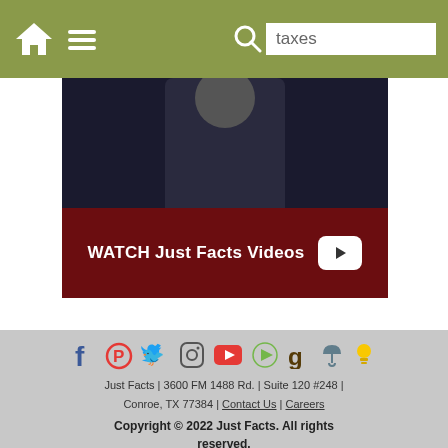Navigation bar with home icon, menu icon, and search box with query 'taxes'
[Figure (screenshot): Video thumbnail showing a person in dark clothing with a dark red banner reading 'WATCH Just Facts Videos' with a YouTube play button icon]
Social media icons (Facebook, Parler, Twitter, Instagram, YouTube, Rumble, Goodreads, Minds, Bulb). Just Facts | 3600 FM 1488 Rd. | Suite 120 #248 | Conroe, TX 77384 | Contact Us | Careers. Copyright © 2022 Just Facts. All rights reserved. Just Facts is a nonprofit 501(c)3 organization. Information provided by Just Facts is not legal, tax, or investment advice. justfacts.com | justfactsdaily.com